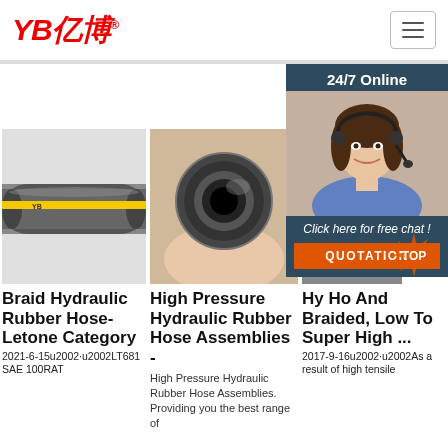[Figure (logo): YB亿博 company logo in red with registered trademark symbol]
[Figure (screenshot): Website screenshot showing three product columns with hydraulic hose images and a 24/7 Online chat overlay]
Braid Hydraulic Rubber Hose- Letone Category
2021-6-15u2002·u2002LT681 SAE 100RAT
High Pressure Hydraulic Rubber Hose Assemblies -
High Pressure Hydraulic Rubber Hose Assemblies. Providing you the best range of
Hy Ho And Braided, Low To Super High ...
2017-9-16u2002·u2002As a result of high tensile
24/7 Online
Click here for free chat !
QUOTATION